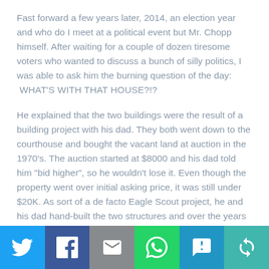Fast forward a few years later, 2014, an election year and who do I meet at a political event but Mr. Chopp himself. After waiting for a couple of dozen tiresome voters who wanted to discuss a bunch of silly politics, I was able to ask him the burning question of the day: WHAT'S WITH THAT HOUSE?!?
He explained that the two buildings were the result of a building project with his dad. They both went down to the courthouse and bought the vacant land at auction in the 1970's. The auction started at $8000 and his dad told him "bid higher", so he wouldn't lose it. Even though the property went over initial asking price, it was still under $20K. As sort of a de facto Eagle Scout project, he and his dad hand-built the two structures and over the years they've been rentals, either to
[Figure (infographic): Social media share bar with 6 buttons: Twitter (blue bird icon), Facebook (white f icon on dark blue), Email (envelope icon on gray), WhatsApp (phone icon on green), SMS (SMS bubble icon on blue), Share/other (circular arrows icon on teal)]